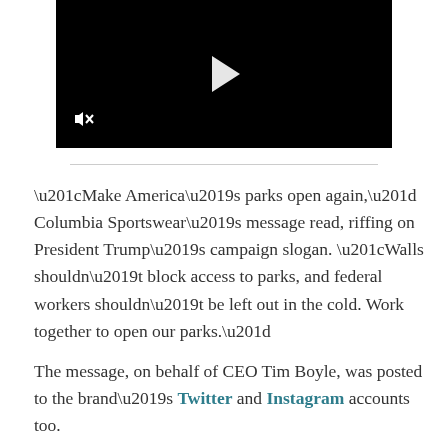[Figure (screenshot): Black video player with a white play button triangle in the center and a muted/speaker-off icon in the bottom-left corner]
“Make America’s parks open again,” Columbia Sportswear’s message read, riffing on President Trump’s campaign slogan. “Walls shouldn’t block access to parks, and federal workers shouldn’t be left out in the cold. Work together to open our parks.”
The message, on behalf of CEO Tim Boyle, was posted to the brand’s Twitter and Instagram accounts too.